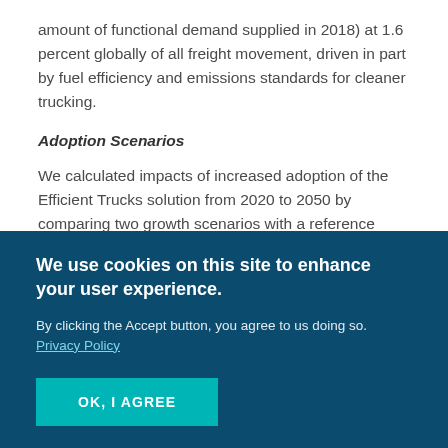amount of functional demand supplied in 2018) at 1.6 percent globally of all freight movement, driven in part by fuel efficiency and emissions standards for cleaner trucking.
Adoption Scenarios
We calculated impacts of increased adoption of the Efficient Trucks solution from 2020 to 2050 by comparing two growth scenarios with a reference scenario in which the market share was fixed at current
We use cookies on this site to enhance your user experience.
By clicking the Accept button, you agree to us doing so. Privacy Policy